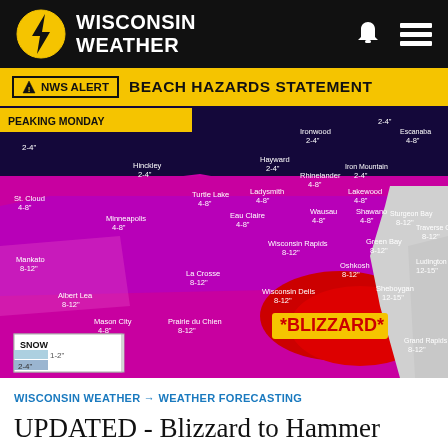[Figure (logo): Wisconsin Weather logo with lightning bolt icon on black header bar with bell and menu icons]
NWS ALERT  BEACH HAZARDS STATEMENT
[Figure (map): Weather forecast map showing snowfall totals across Wisconsin and surrounding states. Blizzard warning shown in red for southeastern Wisconsin (Milwaukee, Sheboygan area) with 12-15 inches. Various snow totals shown: 2-4 inches in northern areas, 4-8 inches in central/northern Wisconsin, 8-12 inches in central/southern Wisconsin, 12-15 inches in southeast. *BLIZZARD* label prominent in red/yellow over Milwaukee area.]
WISCONSIN WEATHER → WEATHER FORECASTING
UPDATED - Blizzard to Hammer Wisconsin Monday; Brutal Cold Arrives